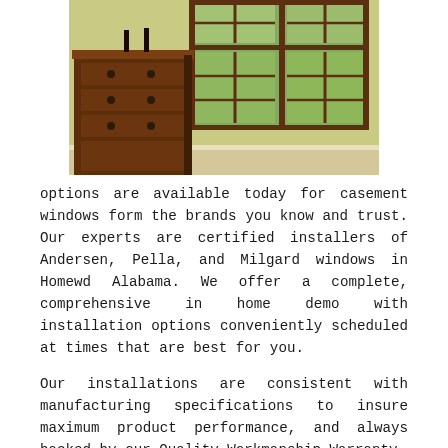[Figure (photo): Interior room photo showing a dark wood dresser/chest of drawers next to a double casement window with dark brown frame, looking out to a green outdoor scene. The walls are painted a light olive/yellow-green color.]
options are available today for casement windows form the brands you know and trust. Our experts are certified installers of Andersen, Pella, and Milgard windows in Homewd Alabama. We offer a complete, comprehensive in home demo with installation options conveniently scheduled at times that are best for you.
Our installations are consistent with manufacturing specifications to insure maximum product performance, and always backed by our Quality Workmanship Warranty